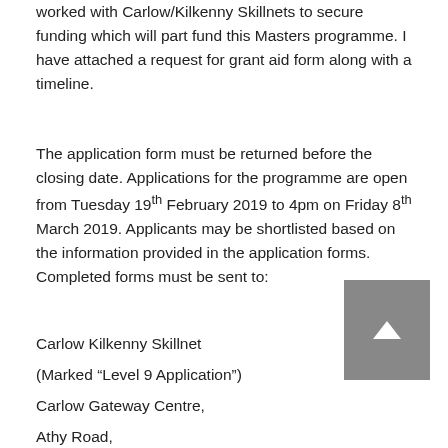worked with Carlow/Kilkenny Skillnets to secure funding which will part fund this Masters programme. I have attached a request for grant aid form along with a timeline.
The application form must be returned before the closing date. Applications for the programme are open from Tuesday 19th February 2019 to 4pm on Friday 8th March 2019. Applicants may be shortlisted based on the information provided in the application forms. Completed forms must be sent to:
Carlow Kilkenny Skillnet
(Marked “Level 9 Application”)
Carlow Gateway Centre,
Athy Road,